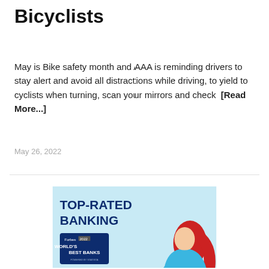Bicyclists
May is Bike safety month and AAA is reminding drivers to stay alert and avoid all distractions while driving, to yield to cyclists when turning, scan your mirrors and check [Read More...]
May 26, 2022
[Figure (illustration): Advertisement banner with light blue background showing TOP-RATED BANKING text in dark blue bold font, Forbes 2022 World's Best Banks badge, and an illustrated woman with red hair wearing a blue top.]